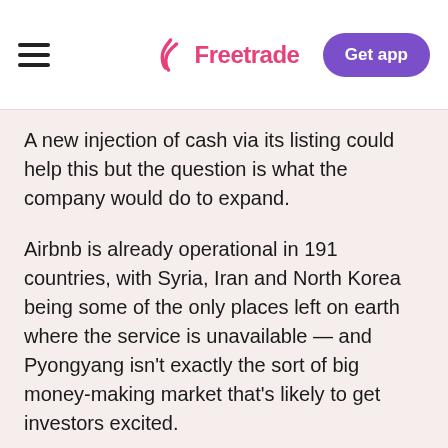Freetrade | Get app
A new injection of cash via its listing could help this but the question is what the company would do to expand.
Airbnb is already operational in 191 countries, with Syria, Iran and North Korea being some of the only places left on earth where the service is unavailable — and Pyongyang isn't exactly the sort of big money-making market that's likely to get investors excited.
On top of this, regulators are starting to crackdown on the company. Around 70% of the top 200 cities that Airbnb serves have now put regulations in place to limit short-term letting. In London, for example, you can now only rent out